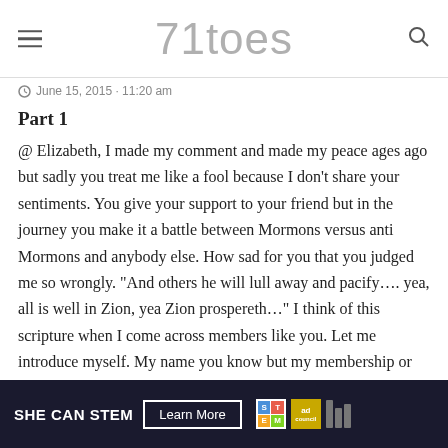71toes
June 15, 2015 · 11:20 am
Part 1
@ Elizabeth, I made my comment and made my peace ages ago but sadly you treat me like a fool because I don't share your sentiments. You give your support to your friend but in the journey you make it a battle between Mormons versus anti Mormons and anybody else. How sad for you that you judged me so wrongly. "And others he will lull away and pacify…. yea, all is well in Zion, yea Zion prospereth…" I think of this scripture when I come across members like you. Let me introduce myself. My name you know but my membership or testimony you clearly missed. I am currently
[Figure (other): SHE CAN STEM advertisement banner with Learn More button, STEM logo, Ad Council logo, and media partner logos]